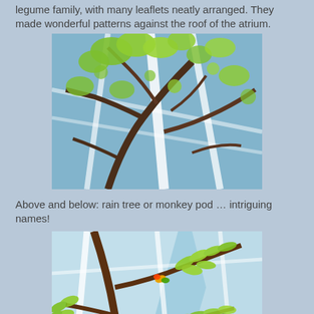legume family, with many leaflets neatly arranged. They made wonderful patterns against the roof of the atrium.
[Figure (photo): Photo looking up at rain tree branches with bright green leaflets against a glass atrium roof and blue sky.]
Above and below: rain tree or monkey pod … intriguing names!
[Figure (photo): Photo looking up at rain tree branches showing pinnate compound leaves with small round leaflets against a glass greenhouse roof and bright sky, with a colorful bird visible on a branch.]